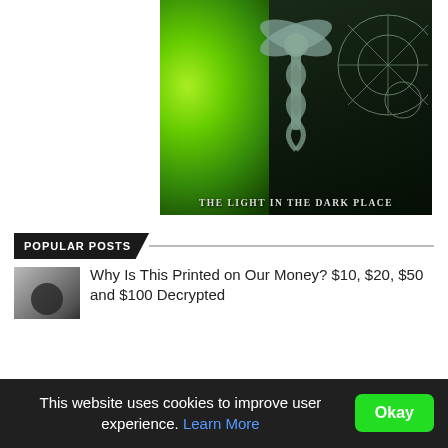[Figure (illustration): Artistic image featuring a caduceus (winged staff with two serpents) figure centered, overlaid on a green leaf background with water droplets on the left and a dark alchemical/geometric diagram on the right. At the bottom is the text 'THE LIGHT IN THE DARK PLACE'.]
POPULAR POSTS
[Figure (photo): Thumbnail image of currency/money bills, partially obscured by a dark circular overlay.]
Why Is This Printed on Our Money? $10, $20, $50 and $100 Decrypted
This website uses cookies to improve user experience. Learn More